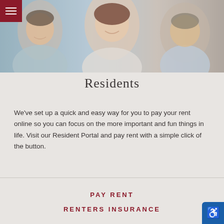[Figure (photo): Banner photo of young adults laughing and embracing outdoors, soft warm tones]
Residents
We've set up a quick and easy way for you to pay your rent online so you can focus on the more important and fun things in life. Visit our Resident Portal and pay rent with a simple click of the button.
PAY RENT
RENTERS INSURANCE